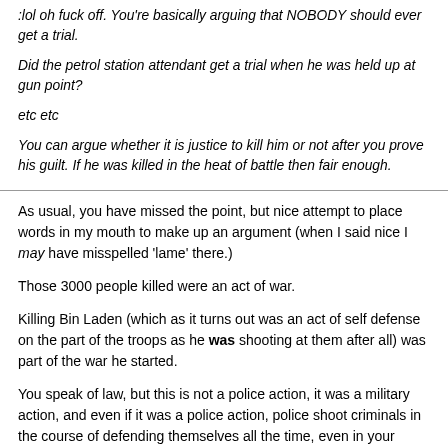:lol oh fuck off. You're basically arguing that NOBODY should ever get a trial.
Did the petrol station attendant get a trial when he was held up at gun point?
etc etc
You can argue whether it is justice to kill him or not after you prove his guilt. If he was killed in the heat of battle then fair enough.
As usual, you have missed the point, but nice attempt to place words in my mouth to make up an argument (when I said nice I may have misspelled 'lame' there.)
Those 3000 people killed were an act of war.
Killing Bin Laden (which as it turns out was an act of self defense on the part of the troops as he was shooting at them after all) was part of the war he started.
You speak of law, but this is not a police action, it was a military action, and even if it was a police action, police shoot criminals in the course of defending themselves all the time, even in your country. Or are you now arguing that police and military have no right to defend themselves and those they are charged to protect? (see what I did there? Just making sure that you know we both do that, and no, you cannot misquote me to say that I am comparing the two situations)